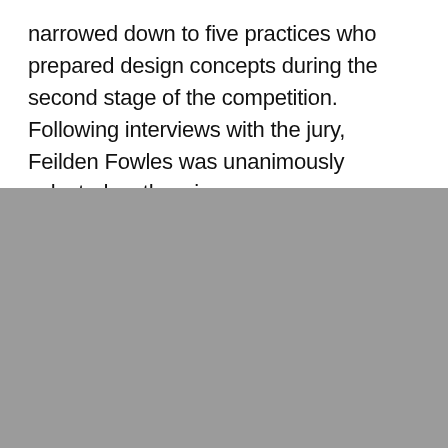narrowed down to five practices who prepared design concepts during the second stage of the competition. Following interviews with the jury, Feilden Fowles was unanimously selected as the winner.
[Figure (photo): A grey/silver coloured image block occupying the lower portion of the page, likely a photograph that is rendered in greyscale or a placeholder image area.]